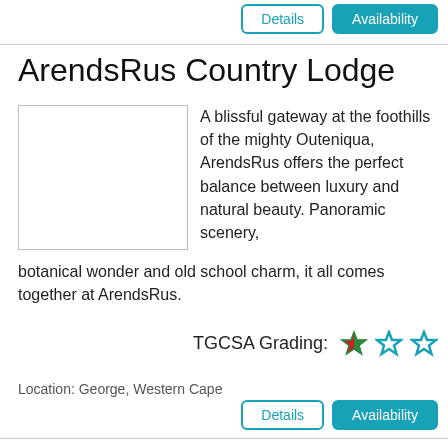Details  Availability
ArendsRus Country Lodge
[Figure (photo): Property image placeholder for ArendsRus Country Lodge]
A blissful gateway at the foothills of the mighty Outeniqua, ArendsRus offers the perfect balance between luxury and natural beauty. Panoramic scenery, botanical wonder and old school charm, it all comes together at ArendsRus.
TGCSA Grading: ★ ★ ★
Location: George, Western Cape
Details  Availability
Ascot Gardens
[Figure (photo): Property image placeholder for Ascot Gardens]
Ascot Gardens, 3 Star graded self catering accommodation, is situated in the